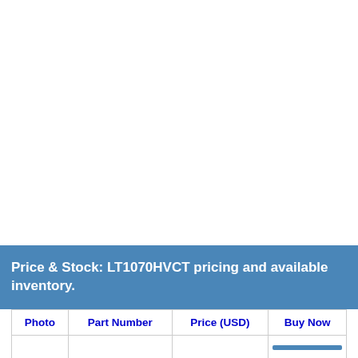Price & Stock: LT1070HVCT pricing and available inventory.
| Photo | Part Number | Price (USD) | Buy Now |
| --- | --- | --- | --- |
|  |  |  |  |